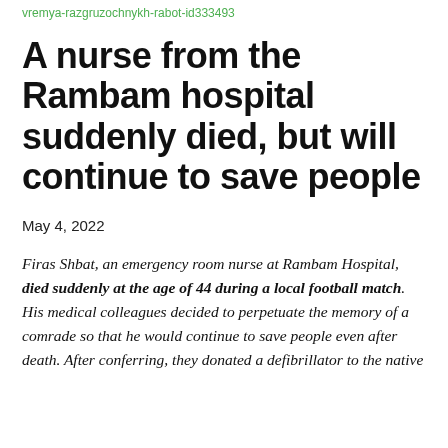vremya-razgruzochnykh-rabot-id333493
A nurse from the Rambam hospital suddenly died, but will continue to save people
May 4, 2022
Firas Shbat, an emergency room nurse at Rambam Hospital, died suddenly at the age of 44 during a local football match. His medical colleagues decided to perpetuate the memory of a comrade so that he would continue to save people even after death. After conferring, they donated a defibrillator to the native